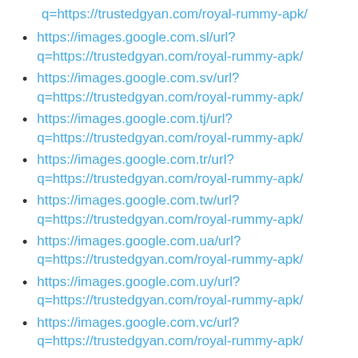q=https://trustedgyan.com/royal-rummy-apk/
https://images.google.com.sl/url?q=https://trustedgyan.com/royal-rummy-apk/
https://images.google.com.sv/url?q=https://trustedgyan.com/royal-rummy-apk/
https://images.google.com.tj/url?q=https://trustedgyan.com/royal-rummy-apk/
https://images.google.com.tr/url?q=https://trustedgyan.com/royal-rummy-apk/
https://images.google.com.tw/url?q=https://trustedgyan.com/royal-rummy-apk/
https://images.google.com.ua/url?q=https://trustedgyan.com/royal-rummy-apk/
https://images.google.com.uy/url?q=https://trustedgyan.com/royal-rummy-apk/
https://images.google.com.vc/url?q=https://trustedgyan.com/royal-rummy-apk/
https://images.google.com.vn/url?